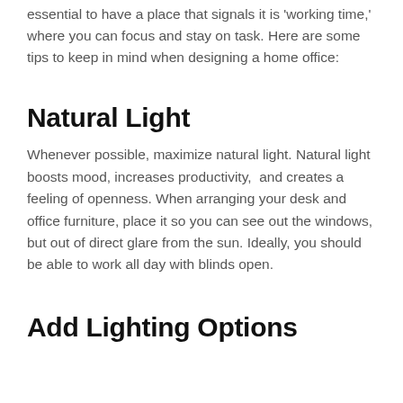essential to have a place that signals it is 'working time,' where you can focus and stay on task. Here are some tips to keep in mind when designing a home office:
Natural Light
Whenever possible, maximize natural light. Natural light boosts mood, increases productivity,  and creates a feeling of openness. When arranging your desk and office furniture, place it so you can see out the windows, but out of direct glare from the sun. Ideally, you should be able to work all day with blinds open.
Add Lighting Options